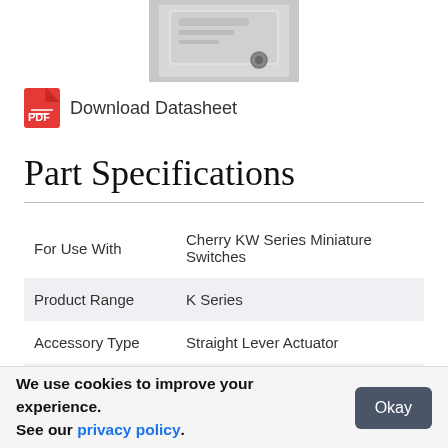[Figure (photo): Close-up photo of a white plastic miniature switch component with a circular hole, partially visible at top of page]
Download Datasheet
Part Specifications
| For Use With | Cherry KW Series Miniature Switches |
| Product Range | K Series |
| Accessory Type | Straight Lever Actuator |
| Features | 1.40 (35.56) in. (mm) |
We use cookies to improve your experience. See our privacy policy.